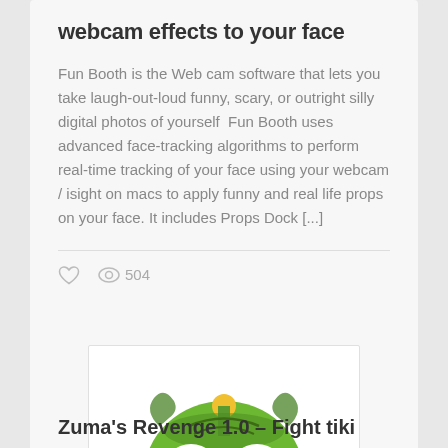webcam effects to your face
Fun Booth is the Web cam software that lets you take laugh-out-loud funny, scary, or outright silly digital photos of yourself  Fun Booth uses advanced face-tracking algorithms to perform real-time tracking of your face using your webcam / isight on macs to apply funny and real life props on your face. It includes Props Dock [...]
504
[Figure (illustration): Green tiki frog mascot character with blue eyes and purple mouth, used as app icon for Zuma's Revenge]
Zuma's Revenge 1.0 – Fight tiki